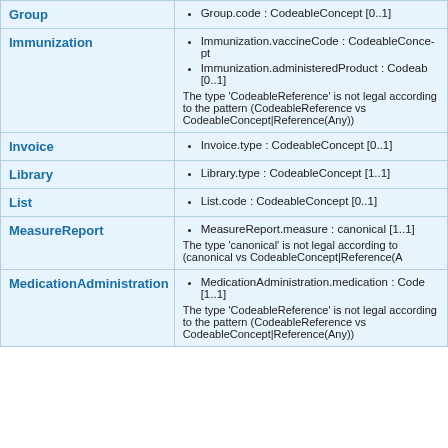| Resource | Fields |
| --- | --- |
| Group | Group.code : CodeableConcept [0..1] |
| Immunization | Immunization.vaccineCode : CodeableConcept [...]
Immunization.administeredProduct : CodeableReference [0..1]
The type 'CodeableReference' is not legal according to the pattern (CodeableReference vs CodeableConcept|Reference(Any)) |
| Invoice | Invoice.type : CodeableConcept [0..1] |
| Library | Library.type : CodeableConcept [1..1] |
| List | List.code : CodeableConcept [0..1] |
| MeasureReport | MeasureReport.measure : canonical [1..1]
The type 'canonical' is not legal according to (canonical vs CodeableConcept|Reference(A...)) |
| MedicationAdministration | MedicationAdministration.medication : CodeableReference [1..1]
The type 'CodeableReference' is not legal according to the pattern (CodeableReference vs CodeableConcept|Reference(Any)) |